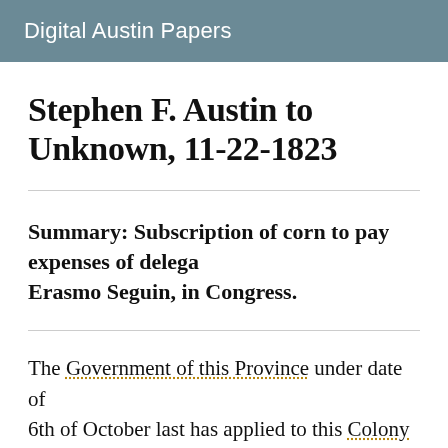Digital Austin Papers
Stephen F. Austin to Unknown, 11-22-1823
Summary: Subscription of corn to pay expenses of delegation, Erasmo Seguin, in Congress.
The Government of this Province under date of 6th of October last has applied to this Colony fo in raising funds to pay the expenses of the